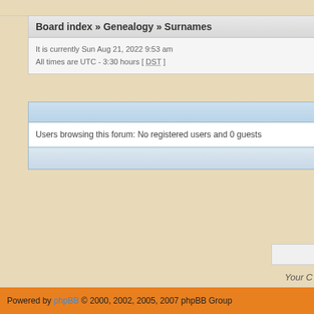Board index » Genealogy » Surnames
It is currently Sun Aug 21, 2022 9:53 am
All times are UTC - 3:30 hours [ DST ]
Users browsing this forum: No registered users and 0 guests
Your C
Powered by phpBB © 2000, 2002, 2005, 2007 phpBB Group